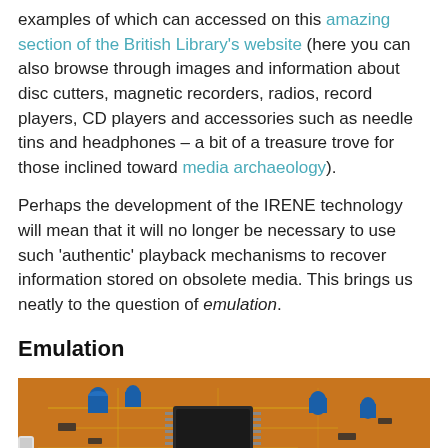examples of which can accessed on this amazing section of the British Library's website (here you can also browse through images and information about disc cutters, magnetic recorders, radios, record players, CD players and accessories such as needle tins and headphones – a bit of a treasure trove for those inclined toward media archaeology).
Perhaps the development of the IRENE technology will mean that it will no longer be necessary to use such 'authentic' playback mechanisms to recover information stored on obsolete media. This brings us neatly to the question of emulation.
Emulation
[Figure (photo): Close-up photograph of an electronic circuit board (PCB) showing orange/brown board with components, capacitors, chips, and wiring. A black panel with buttons and labels is partially visible in the lower right.]